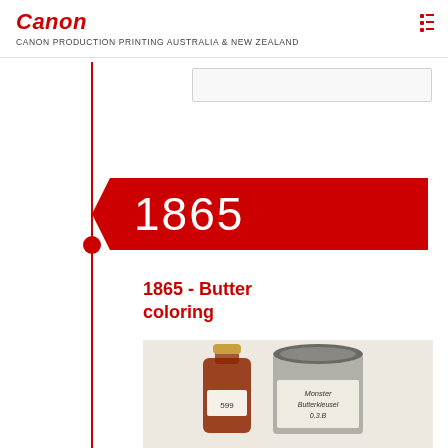Canon
CANON PRODUCTION PRINTING AUSTRALIA & NEW ZEALAND
[Figure (other): Red vertical timeline line with a red dot marker at the 1865 entry point]
[Figure (other): Red year badge with left-pointing arrow notch showing '1865']
1865 - Butter coloring
[Figure (photo): Two old jars of butter coloring: a small amber glass bottle labeled '599' and a larger metal tin labeled 'Monster Butterkleusel 0.3.B']